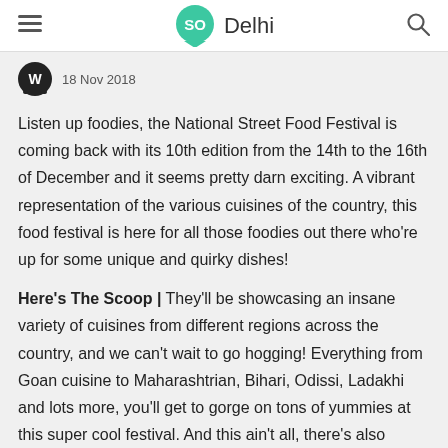SO Delhi
18 Nov 2018
Listen up foodies, the National Street Food Festival is coming back with its 10th edition from the 14th to the 16th of December and it seems pretty darn exciting. A vibrant representation of the various cuisines of the country, this food festival is here for all those foodies out there who're up for some unique and quirky dishes!
Here's The Scoop | They'll be showcasing an insane variety of cuisines from different regions across the country, and we can't wait to go hogging! Everything from Goan cuisine to Maharashtrian, Bihari, Odissi, Ladakhi and lots more, you'll get to gorge on tons of yummies at this super cool festival. And this ain't all, there's also